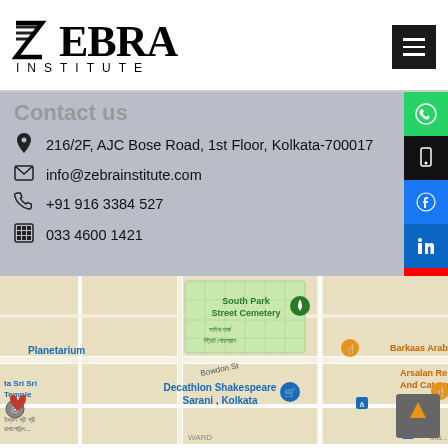[Figure (logo): Zebra Institute logo with stylized Z icon and institute name in letterspaced text]
Contact Us
216/2F, AJC Bose Road, 1st Floor, Kolkata-700017
info@zebrainstitute.com
+91 916 3384 527
033 4600 1421
[Figure (map): Google Maps view showing South Park Street Cemetery, Planetarium, Decathlon Shakespeare Sarani Kolkata, Barkaas Arabic restaurant, Arsalan Restaurant and Catering area in Kolkata]